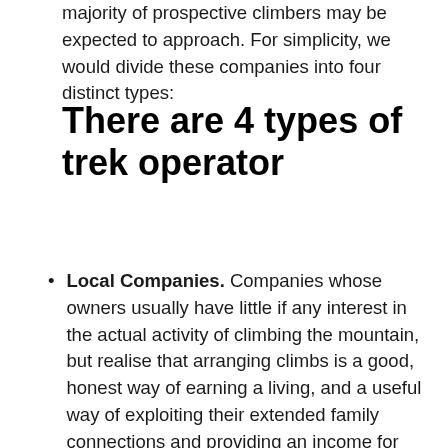majority of prospective climbers may be expected to approach. For simplicity, we would divide these companies into four distinct types:
There are 4 types of trek operator
Local Companies. Companies whose owners usually have little if any interest in the actual activity of climbing the mountain, but realise that arranging climbs is a good, honest way of earning a living, and a useful way of exploiting their extended family connections and providing an income for their hardworking young brothers, nephews and cousins. This type probably encompasses the vast majority of registered